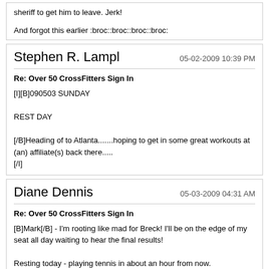sheriff to get him to leave. Jerk!

And forgot this earlier :broc::broc::broc::broc:
Stephen R. Lampl
05-02-2009 10:39 PM
Re: Over 50 CrossFitters Sign In
[I][B]090503 SUNDAY
REST DAY
[/B]Heading of to Atlanta.......hoping to get in some great workouts at (an) affiliate(s) back there.....
[/I]
Diane Dennis
05-03-2009 04:31 AM
Re: Over 50 CrossFitters Sign In
[B]Mark[/B] - I'm rooting like mad for Breck! I'll be on the edge of my seat all day waiting to hear the final results!
Resting today - playing tennis in about an hour from now.
Mark Envi